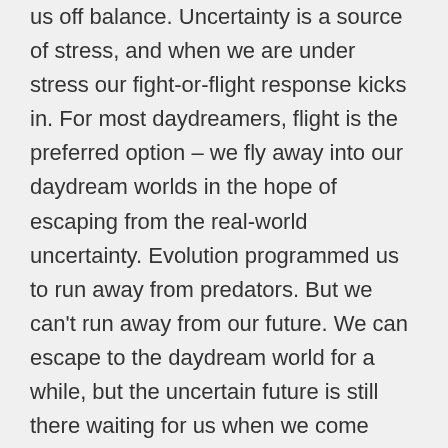us off balance. Uncertainty is a source of stress, and when we are under stress our fight-or-flight response kicks in. For most daydreamers, flight is the preferred option – we fly away into our daydream worlds in the hope of escaping from the real-world uncertainty. Evolution programmed us to run away from predators. But we can't run away from our future. We can escape to the daydream world for a while, but the uncertain future is still there waiting for us when we come back to reality.
But fighting uncertainty can be risky too. If a situation is outside our control, then fighting against it can add to the stress without making the bad situation any better. Daydreaming that you can make everything right when you can't will just make you angry and resentful. So, if you are facing a period of stress or uncertainty, and the